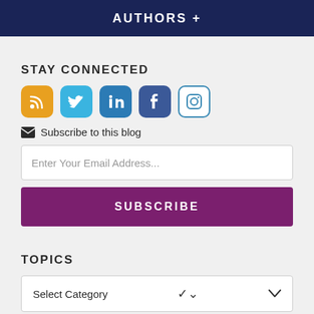AUTHORS +
STAY CONNECTED
[Figure (infographic): Social media icons: RSS (orange), Twitter (blue), LinkedIn (blue), Facebook (dark blue), Instagram (white/teal outline)]
Subscribe to this blog
Enter Your Email Address...
SUBSCRIBE
TOPICS
Select Category